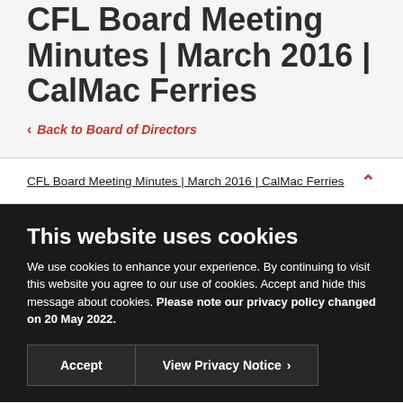CFL Board Meeting Minutes | March 2016 | CalMac Ferries
< Back to Board of Directors
CFL Board Meeting Minutes | March 2016 | CalMac Ferries
This website uses cookies
We use cookies to enhance your experience. By continuing to visit this website you agree to our use of cookies. Accept and hide this message about cookies. Please note our privacy policy changed on 20 May 2022.
Accept | View Privacy Notice >